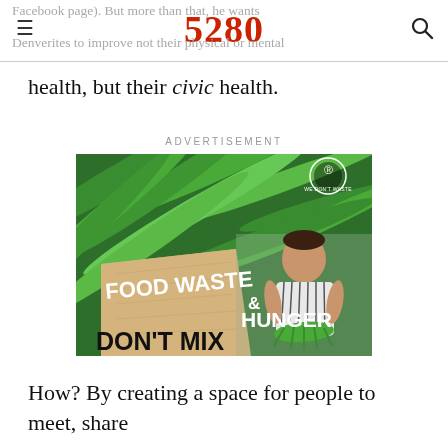Facebook page). But more than that, he wants 5280 Denverites to improve not their physical or mental
health, but their civic health.
ADVERTISEMENT
[Figure (photo): Advertisement for 'We Don't Waste' organization showing green beans in the background, a young boy holding greens, and text reading 'FOOD WASTE & HUNGER DON'T MIX']
How? By creating a space for people to meet, share